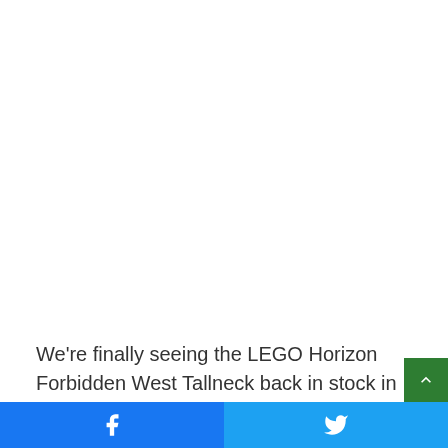We're finally seeing the LEGO Horizon Forbidden West Tallneck back in stock in the UK. It was previously sold out at most retailers, but you can now buy it now from GAME or to
[Figure (other): Social share bar with Facebook and Twitter icons at the bottom of the page]